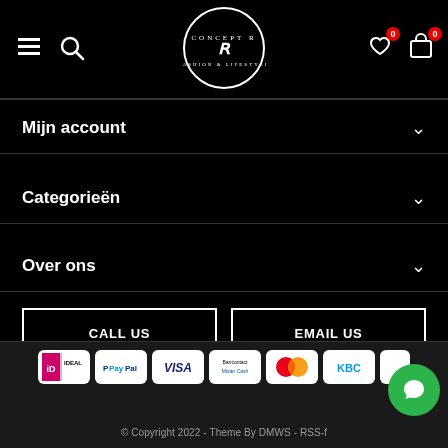Concept R Fashion & Lifestyle — navigation header with hamburger menu, search, logo, wishlist (0), cart (0)
Mijn account
Categorieën
Over ons
CALL US
EMAIL US
[Figure (logo): Facebook and Instagram social media icons]
[Figure (infographic): Payment method icons: iDEAL, PayPal, Visa, Maestro/Mastercard, Mastercard, KBC]
© Copyright 2022 - Theme By DMWS - RSS-f